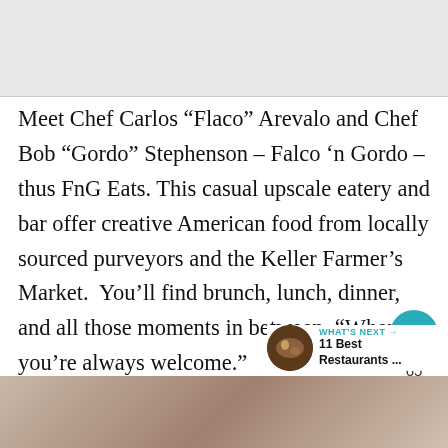[Figure (photo): Blurred/grey image placeholder at top of page]
Meet Chef Carlos “Flaco” Arevalo and Chef Bob “Gordo” Stephenson – Falco ‘n Gordo – thus FnG Eats. This casual upscale eatery and bar offer creative American food from locally sourced purveyors and the Keller Farmer’s Market.  You’ll find brunch, lunch, dinner, and all those moments in between, “Where you’re always welcome.”
[Figure (photo): Blurred restaurant interior image at bottom of page]